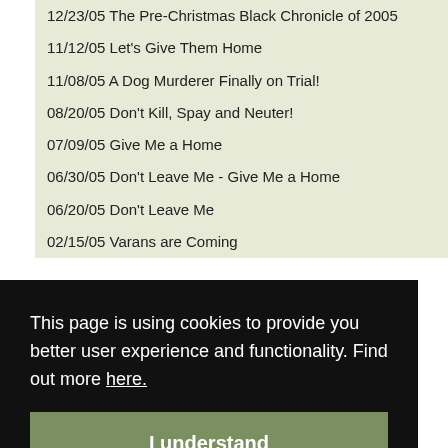12/23/05 The Pre-Christmas Black Chronicle of 2005
11/12/05 Let's Give Them Home
11/08/05 A Dog Murderer Finally on Trial!
08/20/05 Don't Kill, Spay and Neuter!
07/09/05 Give Me a Home
06/30/05 Don't Leave Me - Give Me a Home
06/20/05 Don't Leave Me
02/15/05 Varans are Coming
This page is using cookies to provide you better user experience and functionality. Find out more here.
I understand
07/01/04 Exotic Animals Trade